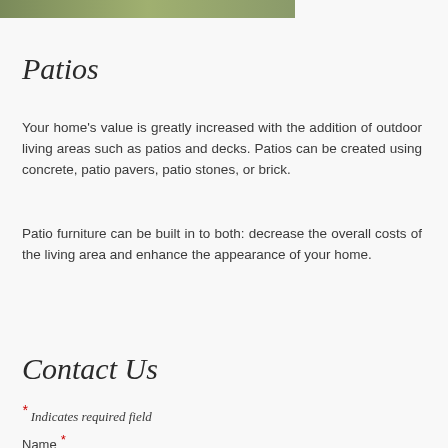[Figure (photo): Partial bottom edge of an outdoor patio/garden photo strip visible at the top of the page]
Patios
Your home's value is greatly increased with the addition of outdoor living areas such as patios and decks. Patios can be created using concrete, patio pavers, patio stones, or brick.
Patio furniture can be built in to both: decrease the overall costs of the living area and enhance the appearance of your home.
Contact Us
* Indicates required field
Name *